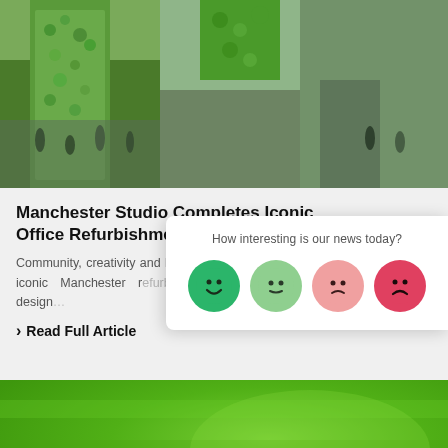[Figure (photo): Interior atrium of a modern office building with a large green living wall covered in plants. People walking through the space. Multiple panels showing different views of the building interior and exterior.]
Manchester Studio Completes Iconic Office Refurbishment Projects
Community, creativity and health are three key pillars of four iconic Manchester refurbishment projects. Independent design...
> Read Full Article
How interesting is our news today?
[Figure (infographic): A feedback popup card with four emoji faces in a row: a dark green happy face, a light green neutral-happy face, a light red neutral-sad face, and a dark red sad face. The question above reads: How interesting is our news today?]
[Figure (photo): Close-up photo of a bright green painted surface or wall, showing texture and variation in the green paint.]